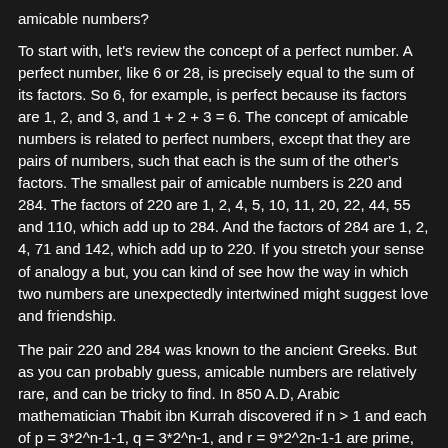amicable numbers?
To start with, let's review the concept of a perfect number.  A perfect number, like 6 or 28, is precisely equal to the sum of its factors.  So 6, for example, is perfect because its factors are 1, 2, and 3, and 1 + 2 + 3 = 6.   The concept of amicable numbers is related to perfect numbers, except that they are pairs of numbers, such that each is the sum of the other's factors.  The smallest pair of amicable numbers is 220 and 284.  The factors of 220 are 1, 2, 4, 5, 10, 11, 20, 22, 44, 55 and 110, which add up to 284.  And the factors of 284 are 1, 2, 4, 71 and 142, which add up to 220.   If you stretch your sense of analogy a but, you can kind of see how the way in which two numbers are unexpectedly intertwined might suggest love and friendship.
The pair 220 and 284 was known to the ancient Greeks.  But as you can probably guess, amicable numbers are relatively rare, and can be tricky to find.  In 850 A.D, Arabic mathematician Thabit ibn Kurrah discovered if n > 1 and each of p = 3*2^n-1-1, q = 3*2^n-1, and r = 9*2^2n-1-1 are prime, then (2^n)pq and (2^n)r are amicable numbers.  This